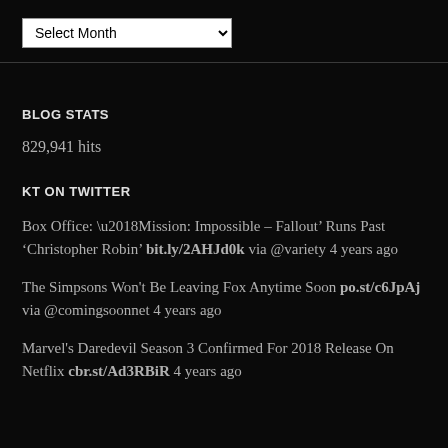[Figure (other): A dropdown selector widget labeled 'Select Month' with a white background on a black page background]
BLOG STATS
829,941 hits
KT ON TWITTER
Box Office: ‘Mission: Impossible – Fallout’ Runs Past ‘Christopher Robin’ bit.ly/2AHJd0k via @variety 4 years ago
The Simpsons Won't Be Leaving Fox Anytime Soon po.st/c6JpAj via @comingsoonnet 4 years ago
Marvel's Daredevil Season 3 Confirmed For 2018 Release On Netflix cbr.st/Ad3RBiR 4 years ago